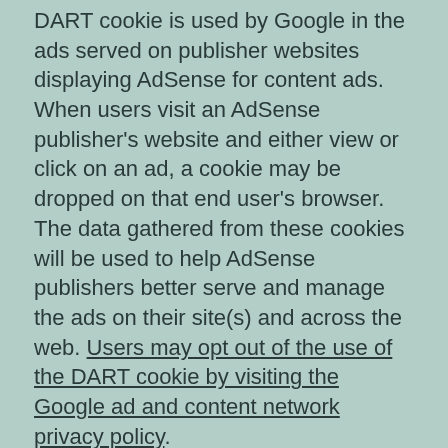DART cookie is used by Google in the ads served on publisher websites displaying AdSense for content ads. When users visit an AdSense publisher's website and either view or click on an ad, a cookie may be dropped on that end user's browser. The data gathered from these cookies will be used to help AdSense publishers better serve and manage the ads on their site(s) and across the web. Users may opt out of the use of the DART cookie by visiting the Google ad and content network privacy policy.
Contact Information